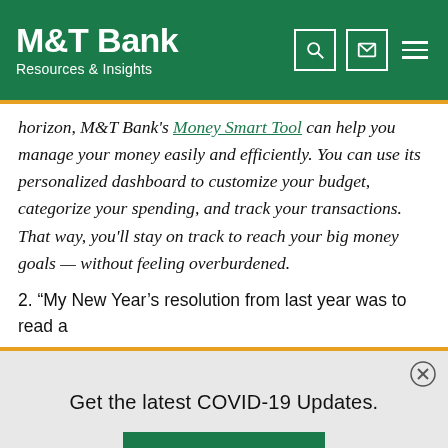M&T Bank — Resources & Insights
horizon, M&T Bank's Money Smart Tool can help you manage your money easily and efficiently. You can use its personalized dashboard to customize your budget, categorize your spending, and track your transactions. That way, you'll stay on track to reach your big money goals — without feeling overburdened.
2. “My New Year’s resolution from last year was to read a
Get the latest COVID-19 Updates.
Learn More >